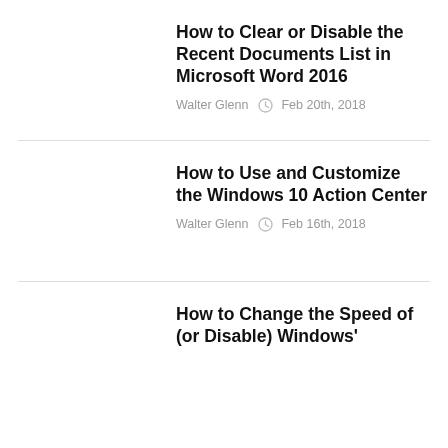How to Clear or Disable the Recent Documents List in Microsoft Word 2016
Walter Glenn  Feb 20th, 2018
How to Use and Customize the Windows 10 Action Center
Walter Glenn  Feb 16th, 2018
How to Change the Speed of (or Disable) Windows'